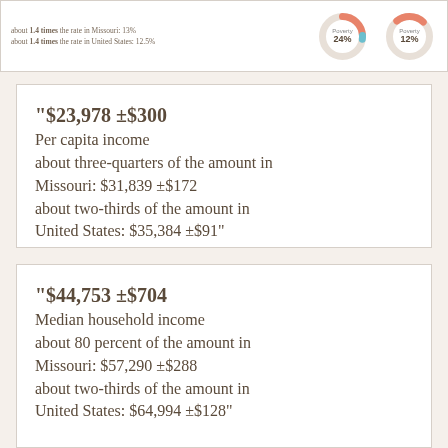[Figure (other): Partial view of donut charts showing poverty percentages (24% and 12%) with small text labels referencing Missouri and United States comparisons]
“$23,978 ±$300 Per capita income about three-quarters of the amount in Missouri: $31,839 ±$172 about two-thirds of the amount in United States: $35,384 ±$91”
“$44,753 ±$704 Median household income about 80 percent of the amount in Missouri: $57,290 ±$288 about two-thirds of the amount in United States: $64,994 ±$128”
“18.5% ±0.5% (131,404 ±2,812)